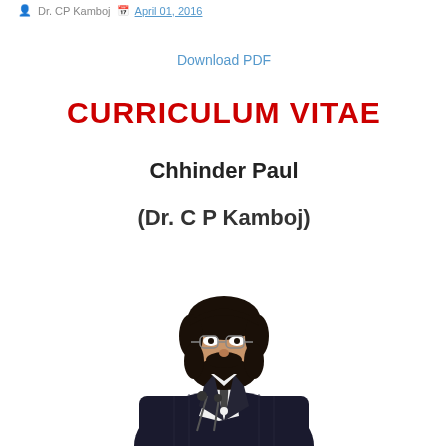Dr. CP Kamboj   April 01, 2016
Download PDF
CURRICULUM VITAE
Chhinder Paul
(Dr. C P Kamboj)
[Figure (photo): Portrait photo of Dr. C P Kamboj, a man in a dark pinstripe suit with white shirt and tie, wearing glasses, with a beard, standing near microphones]